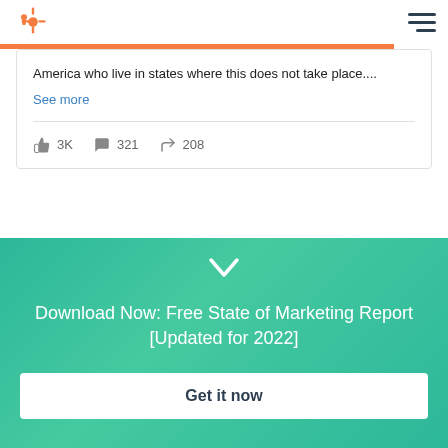HubSpot logo and navigation menu
America who live in states where this does not take place....
See more
3K  321  208
[Figure (infographic): Chevron down icon indicating scroll]
Download Now: Free State of Marketing Report [Updated for 2022]
Get it now